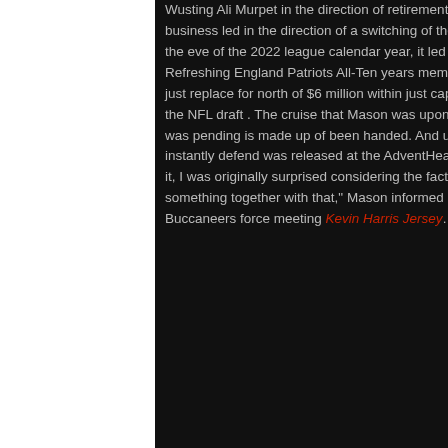Wusting Ali Murpet in the direction of retirement and Alex Cappa in direction of no cost business led in the direction of a switching of the shield for the Tampa Bay Buccaneers. Upon the eve of the 2022 league calendar year, it led the company towards Shaq Mason. The Refreshing England Patriots All-Ten years member found out himself realized past 7 days in just replace for north of $6 million within just cap location and opt for No. 170 general within the NFL draft . The cruise that Mason was upon consists of returned. The actual physical that was pending is made up of been handed. And upon Thursday, the 29-calendar year-aged instantly defend was released at the AdventHealth Working out Middle. "Anytime I read over it, I was originally surprised considering the fact that it wasn't upon my thoughts at all or something together with that," Mason informed reporters of the exchange in the course of his Buccaneers force meeting Kevin Harris Jersey. "Still